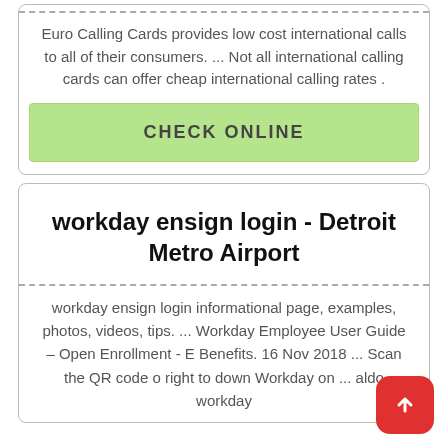Euro Calling Cards provides low cost international calls to all of their consumers. ... Not all international calling cards can offer cheap international calling rates .
CHECK ONLINE
workday ensign login - Detroit Metro Airport
workday ensign login informational page, examples, photos, videos, tips. ... Workday Employee User Guide – Open Enrollment - E Benefits. 16 Nov 2018 ... Scan the QR code o right to down Workday on ... aldo workday